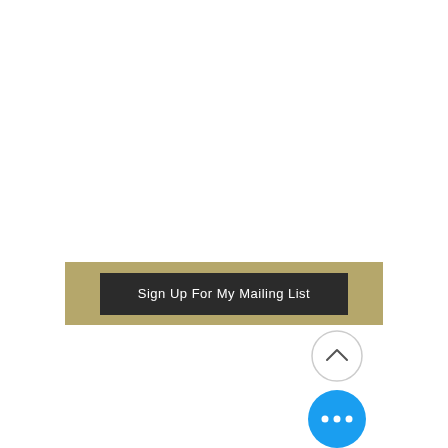[Figure (screenshot): A gold/tan colored banner bar containing a dark charcoal/black rectangular button with white text reading 'Sign Up For My Mailing List']
[Figure (other): A circular button with a light gray border and white background containing an upward-pointing chevron arrow (^) in dark color — a scroll-to-top button]
[Figure (other): A circular bright blue button containing three white horizontal dots (ellipsis/more options button)]